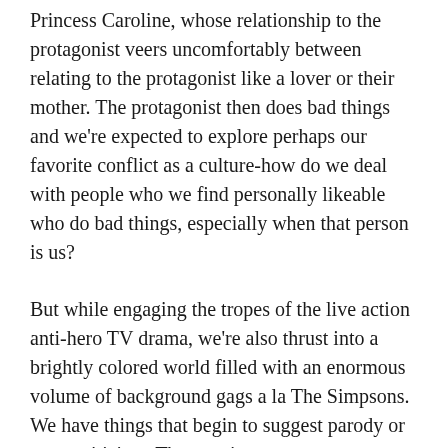Princess Caroline, whose relationship to the protagonist veers uncomfortably between relating to the protagonist like a lover or their mother. The protagonist then does bad things and we're expected to explore perhaps our favorite conflict as a culture-how do we deal with people who we find personally likeable who do bad things, especially when that person is us?
But while engaging the tropes of the live action anti-hero TV drama, we're also thrust into a brightly colored world filled with an enormous volume of background gags a la The Simpsons. We have things that begin to suggest parody or meta-criticism. The opening sequence, an animation of Bojack falling from a great height into his pool, is obviously supposed to evoke the opening of Mad Men while also evoking the opening of Sunset Boulevard. Yet at the same time, we're looking at a cartoon horse, and, already being very familiar with the Mad Men opening, it feels somewhat ridiculous. Bojack's sidekick Todd, voiced by the man who